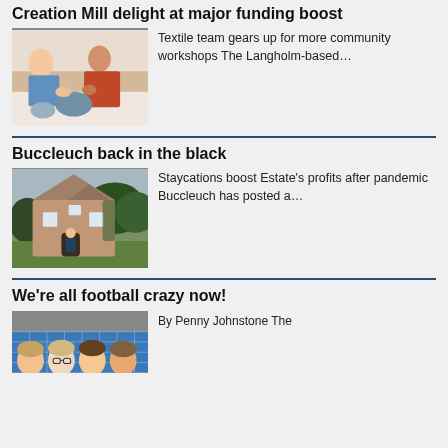Creation Mill delight at major funding boost
[Figure (photo): Women engaged in textile/knitting workshop activity]
Textile team gears up for more community workshops The Langholm-based…
Buccleuch back in the black
[Figure (photo): Stone cottage building exterior with person standing in doorway, surrounded by trees]
Staycations boost Estate's profits after pandemic Buccleuch has posted a…
We're all football crazy now!
[Figure (photo): Group of people posing in front of a goal net]
By Penny Johnstone The